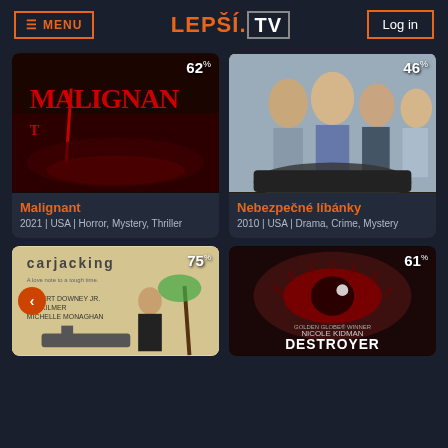≡ MENU   LEPŠÍ.TV   Log in
[Figure (screenshot): Movie card: Malignant - dark red horror movie poster with 62% score]
Malignant
2021 | USA | Horror, Mystery, Thriller
[Figure (screenshot): Movie card: Nebezpečné líbánky - group of people on cover with 46% score]
Nebezpečné líbánky
2010 | USA | Drama, Crime, Mystery
[Figure (screenshot): Movie card: partially visible gangster film with Robert Downey Jr., Val Kilmer, Michelle Monaghan - 75% score]
[Figure (screenshot): Movie card: Destroyer featuring Nicole Kidman - close-up eye image with 61% score]